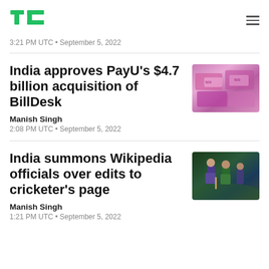TechCrunch logo and navigation
3:21 PM UTC • September 5, 2022
India approves PayU’s $4.7 billion acquisition of BillDesk
Manish Singh
2:08 PM UTC • September 5, 2022
India summons Wikipedia officials over edits to cricketer’s page
Manish Singh
1:21 PM UTC • September 5, 2022